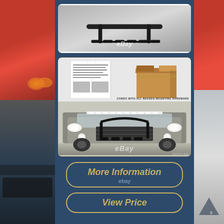[Figure (photo): Product photo of a black bull bar/push bumper guard shown on a grey background with eBay watermark]
[Figure (photo): Composite image showing: top half - installation instructions document and cardboard shipping box with text 'COMES WITH ALL NEEDED MOUNTING HARDWARE'; bottom half - black bull bar installed on front of a truck/SUV with eBay watermark]
More Information
ebay
View Price